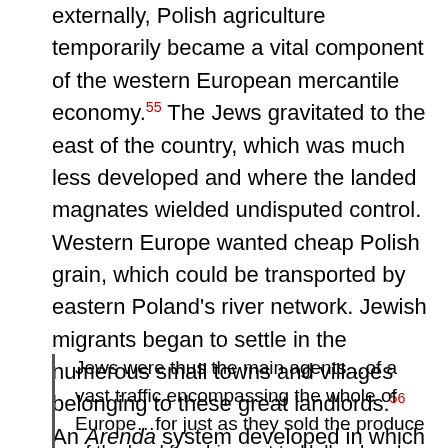externally, Polish agriculture temporarily became a vital component of the western European mercantile economy.55 The Jews gravitated to the east of the country, which was much less developed and where the landed magnates wielded undisputed control. Western Europe wanted cheap Polish grain, which could be transported by eastern Poland's river network. Jewish migrants began to settle in the numerous small towns and villages belonging to these great landlords.56 An Arenda system developed in which Polish nobles leased their estates to Jewish management.
Jews were thus the main agents…of a vast traffic encompassing the whole of Europe…for just as they sold the produce of the land for shipment to Holland and beyond, it was they who distributed the western cloth, salt, wine and luxuries, such as spices and jewellery.57